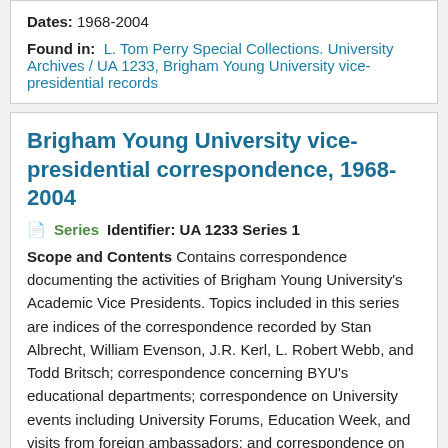Dates: 1968-2004
Found in: L. Tom Perry Special Collections. University Archives / UA 1233, Brigham Young University vice-presidential records
Brigham Young University vice-presidential correspondence, 1968-2004
Series    Identifier: UA 1233 Series 1
Scope and Contents Contains correspondence documenting the activities of Brigham Young University's Academic Vice Presidents. Topics included in this series are indices of the correspondence recorded by Stan Albrecht, William Evenson, J.R. Kerl, L. Robert Webb, and Todd Britsch; correspondence concerning BYU's educational departments; correspondence on University events including University Forums, Education Week, and visits from foreign ambassadors; and correspondence on other BYU